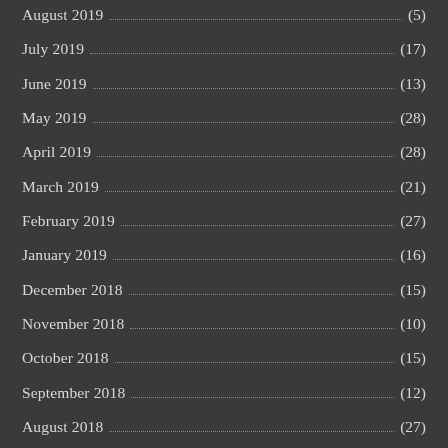August 2019 (5)
July 2019 (17)
June 2019 (13)
May 2019 (28)
April 2019 (28)
March 2019 (21)
February 2019 (27)
January 2019 (16)
December 2018 (15)
November 2018 (10)
October 2018 (15)
September 2018 (12)
August 2018 (27)
July 2018 (33)